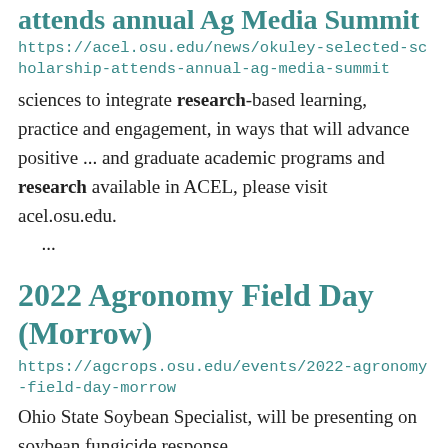attends annual Ag Media Summit
https://acel.osu.edu/news/okuley-selected-scholarship-attends-annual-ag-media-summit
sciences to integrate research-based learning, practice and engagement, in ways that will advance positive ... and graduate academic programs and research available in ACEL, please visit acel.osu.edu. ...
2022 Agronomy Field Day (Morrow)
https://agcrops.osu.edu/events/2022-agronomy-field-day-morrow
Ohio State Soybean Specialist, will be presenting on soybean fungicide response